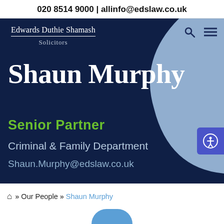020 8514 9000 | allinfo@edslaw.co.uk
[Figure (screenshot): Edwards Duthie Shamash Solicitors law firm website banner featuring Shaun Murphy, Senior Partner, Criminal & Family Department, with dark navy background and light blue curved decorative element]
Edwards Duthie Shamash
Solicitors
Shaun Murphy
Senior Partner
Criminal & Family Department
Shaun.Murphy@edslaw.co.uk
🏠 » Our People » Shaun Murphy